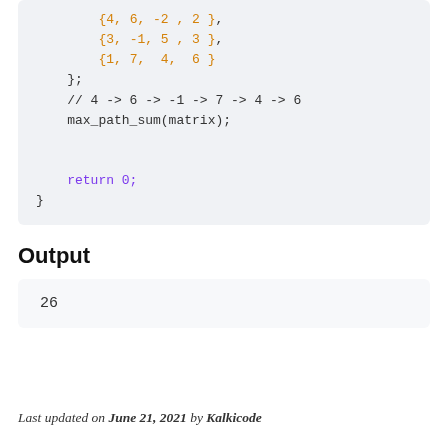{4, 6, -2 , 2 },
{3, -1, 5 , 3 },
{1, 7, 4, 6 }
};
// 4 -> 6 -> -1 -> 7 -> 4 -> 6
max_path_sum(matrix);
return 0;
}
Output
26
Last updated on June 21, 2021 by Kalkicode